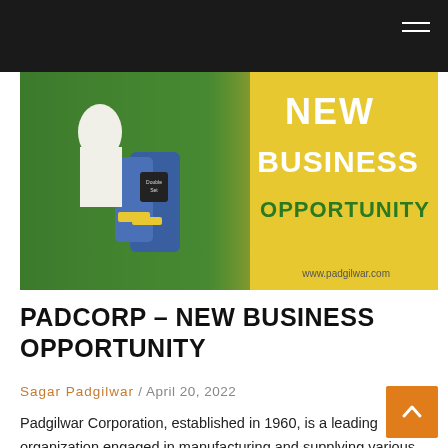[Figure (photo): Banner advertisement for Padcorp / Padgilwar Corporation showing a farmer with agricultural sprayer equipment against a green field background, with yellow overlay on right side reading 'NEW BUSINESS OPPORTUNITY' in bold text, and website www.padgilwar.com at bottom right.]
PADCORP – NEW BUSINESS OPPORTUNITY
Sagar Padgilwar / April 20, 2022
Padgilwar Corporation, established in 1960, is a leading organization engaged in manufacturing and supplying various agricultural tools and equipment, such as sprayers, pumps, rice mills, etc. With a mission to help small farmers across India, Padcorp consistently works hard to develop innovative and affordable products to make the task easier